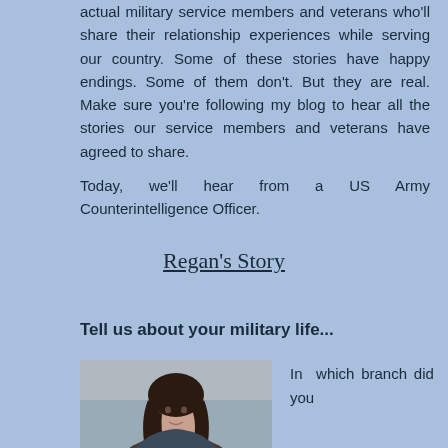actual military service members and veterans who'll share their relationship experiences while serving our country. Some of these stories have happy endings. Some of them don't. But they are real. Make sure you're following my blog to hear all the stories our service members and veterans have agreed to share.
Today, we'll hear from a US Army Counterintelligence Officer.
Regan's Story
Tell us about your military life...
[Figure (photo): Portrait photo of a woman with dark hair against a muted background]
In which branch did you